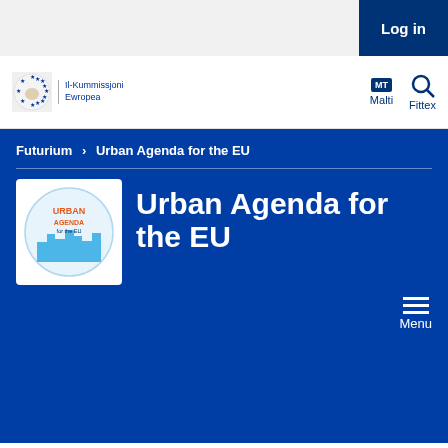Log in
[Figure (logo): European Commission logo with EU stars and text 'Il-Kummissjoni Ewropea']
Futurium > Urban Agenda for the EU
Urban Agenda for the EU
[Figure (logo): Urban Agenda for the EU circular logo with city skyline]
This space is dedicated to you! Please create an account then join and contribute with a post.
In this section you'll find our series of Articles on specific Actions and our Urban Case Studies where we look at localimplementations of the Actions...